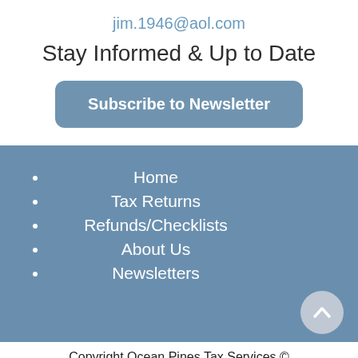jim.1946@aol.com
Stay Informed & Up to Date
Subscribe to Newsletter
Home
Tax Returns
Refunds/Checklists
About Us
Newsletters
Copyright Ocean Pines Tax Services ©